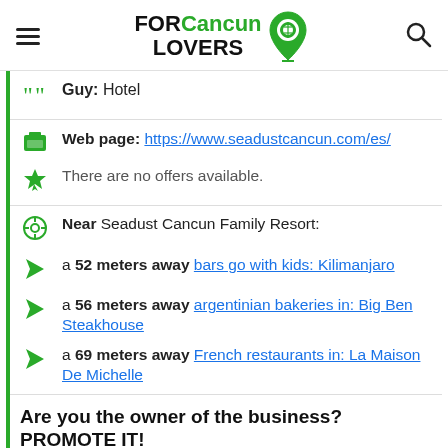FOR Cancun LOVERS
Guy: Hotel
Web page: https://www.seadustcancun.com/es/
There are no offers available.
Near Seadust Cancun Family Resort:
a 52 meters away bars go with kids: Kilimanjaro
a 56 meters away argentinian bakeries in: Big Ben Steakhouse
a 69 meters away French restaurants in: La Maison De Michelle
Are you the owner of the business? PROMOTE IT!